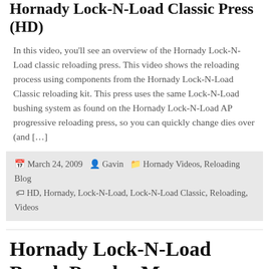Hornady Lock-N-Load Classic Press (HD)
In this video, you'll see an overview of the Hornady Lock-N-Load classic reloading press. This video shows the reloading process using components from the Hornady Lock-N-Load Classic reloading kit. This press uses the same Lock-N-Load bushing system as found on the Hornady Lock-N-Load AP progressive reloading press, so you can quickly change dies over (and […]
March 24, 2009  Gavin  Hornady Videos, Reloading Blog  HD, Hornady, Lock-N-Load, Lock-N-Load Classic, Reloading, Videos
Hornady Lock-N-Load Bench Powder Measure (HD)
Note: You may also want to see the Hornady Lock-N-Load AP Powder Measure video In this video, you'll see the Hornady Lock-N-Load bench mounted powder measure in action. This is the